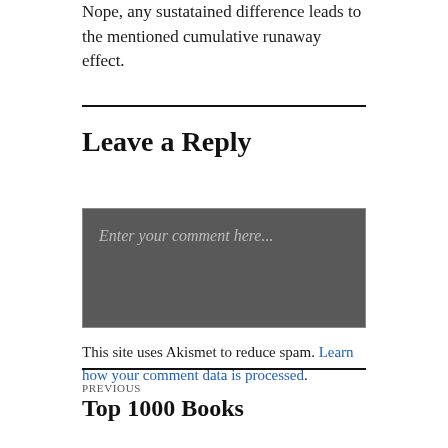Nope, any sustatained difference leads to the mentioned cumulative runaway effect.
Leave a Reply
Enter your comment here...
This site uses Akismet to reduce spam. Learn how your comment data is processed.
PREVIOUS
Top 1000 Books